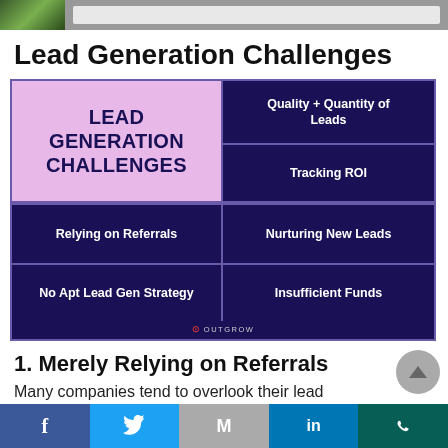[Figure (other): Top browser/header strip with leaf image on left and address bar]
Lead Generation Challenges
[Figure (infographic): Lead Generation Challenges infographic grid on dark navy background. Left column (pink): LEAD GENERATION CHALLENGES. Right column (navy): Quality + Quantity of Leads, Tracking ROI, Nurturing New Leads. Bottom row: Relying on Referrals (left), Insufficient Funds (right). Outgrow logo at bottom.]
1. Merely Relying on Referrals
Many companies tend to overlook their lead
Facebook Twitter Gmail LinkedIn WhatsApp